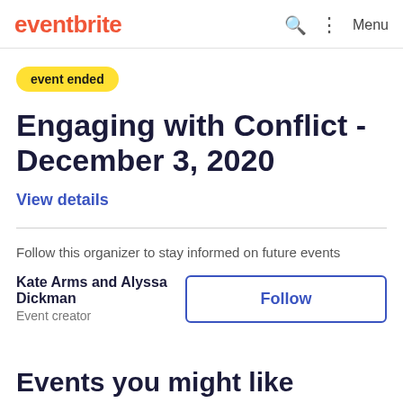eventbrite  Menu
event ended
Engaging with Conflict - December 3, 2020
View details
Follow this organizer to stay informed on future events
Kate Arms and Alyssa Dickman
Event creator
Follow
Events you might like